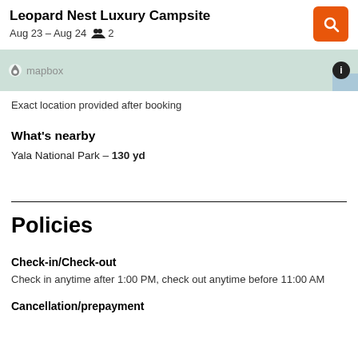Leopard Nest Luxury Campsite — Aug 23 – Aug 24 — 2 guests
[Figure (map): Mapbox map tile showing a light green area, with Mapbox logo and info button]
Exact location provided after booking
What's nearby
Yala National Park – 130 yd
Policies
Check-in/Check-out
Check in anytime after 1:00 PM, check out anytime before 11:00 AM
Cancellation/prepayment